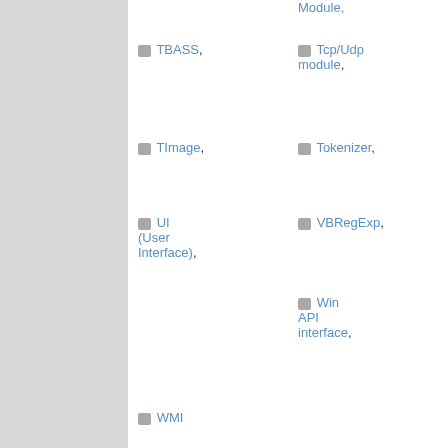Module,
TBASS,
Tcp/Udp module,
TImage,
Tokenizer,
UI (User Interface),
VBRegExp,
Win API interface,
WMI
Sources, Templates, Code Snippets, Tips and Tricks, Do you know ...
(9 Viewing)
Do you have some piece of code to share? This is the place.
Do you have real world problems solved with thinBasic? Let us know.
Sub-Forums:
FreeBasic,
Do you know ...,
thinBasic
Rosetta
Threads 360 Posts: 2,006
Sigil Wrapper
by Petr Schreiber
12-02-2022, 18:29
Tag Cl
dll exc wrapp